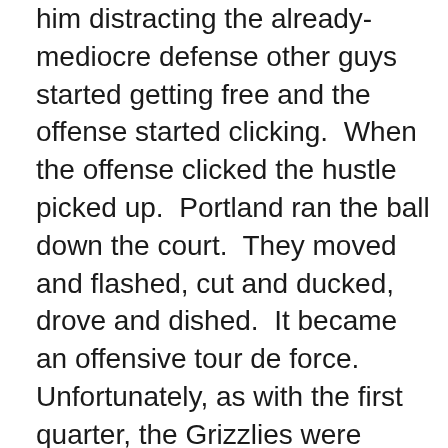him distracting the already-mediocre defense other guys started getting free and the offense started clicking. When the offense clicked the hustle picked up. Portland ran the ball down the court. They moved and flashed, cut and ducked, drove and dished. It became an offensive tour de force. Unfortunately, as with the first quarter, the Grizzlies were quick to exploit the natural weaknesses of the sizzling offensive lineup. Once guards got a first step on their defenders Portland had no shot blocking to shut them down. The rotations were there but they were ineffective because the second guy didn't often bother the scorer. Memphis was getting offensive rebounds as well, plus plenty of foul shots. Fortunately they were missing a lot of the latter so they didn't run away with it. As the quarter wound down, though, the Blazers did as well. You could visibly see the energy draining out of them.